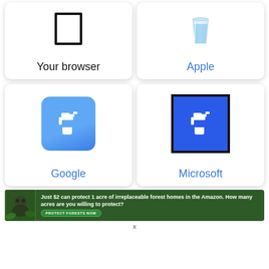[Figure (illustration): Card with browser icon (rectangle outline) labeled 'Your browser' in black text]
[Figure (illustration): Card with Apple water glass icon labeled 'Apple' in blue text]
[Figure (illustration): Card with blue rounded square faucet/tap icon labeled 'Google' in blue text]
[Figure (illustration): Card with blue square faucet/tap icon with black border labeled 'Microsoft' in blue text]
[Figure (infographic): Ad banner: 'Just $2 can protect 1 acre of irreplaceable forest homes in the Amazon. How many acres are you willing to protect?' with green 'PROTECT FORESTS NOW' button and rainforest imagery]
x